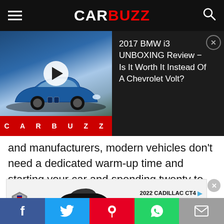CARBUZZ
[Figure (screenshot): Video thumbnail showing a blue BMW i3 electric car with a play button overlay and a red CARBUZZ banner at the bottom. To the right is the video title: '2017 BMW i3 UNBOXING Review - Is It Worth It Instead Of A Chevrolet Volt?' with a close button.]
and manufacturers, modern vehicles don't need a dedicated warm-up time and starting your car and spending twenty to thirty seconds adjusting mirrors and buckling up is usually more than enough. In extremely cold weather, most manufacturers
[Figure (other): Advertisement banner for the 2022 Cadillac CT4 with Cadillac logo, black car image, and 'DISCOVER CT4' button.]
Social share bar with Facebook, Twitter, Pinterest, WhatsApp, and Email buttons